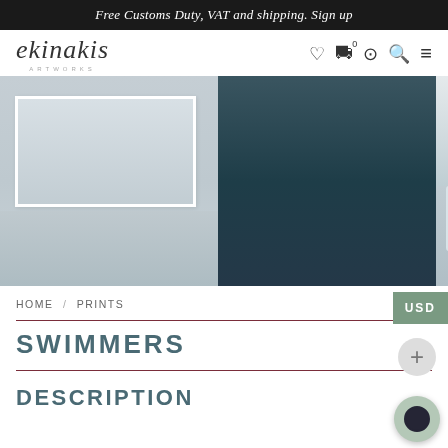Free Customs Duty, VAT and shipping. Sign up
[Figure (screenshot): Ekinakis Artworks logo and navigation bar with wishlist, cart (0), account, search, and menu icons]
[Figure (photo): Three product images: a misty seascape print, a dark ocean print, and a bedroom scene with a framed seascape print above a bed]
HOME / PRINTS
SWIMMERS
DESCRIPTION